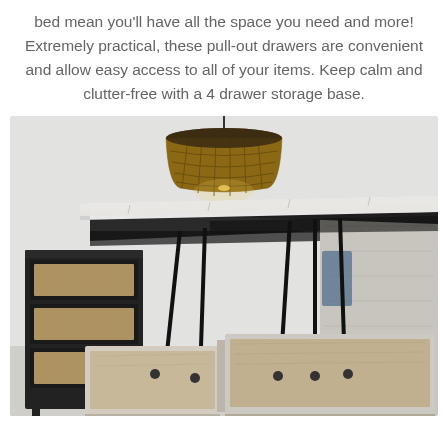bed mean you'll have all the space you need and more! Extremely practical, these pull-out drawers are convenient and allow easy access to all of your items. Keep calm and clutter-free with a 4 drawer storage base.
[Figure (photo): A storage bed with the mattress lifted up on hydraulic arms revealing the large internal storage compartment. A rattan pendant lamp hangs above. A black dresser with rattan drawer fronts is visible on the left side.]